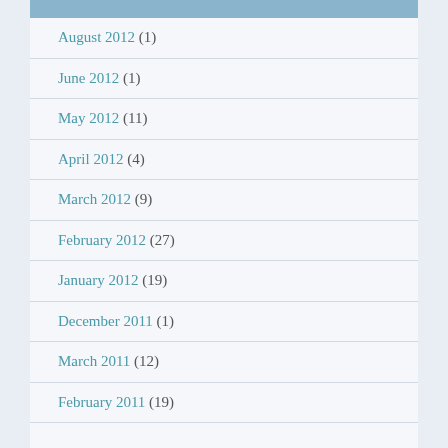August 2012 (1)
June 2012 (1)
May 2012 (11)
April 2012 (4)
March 2012 (9)
February 2012 (27)
January 2012 (19)
December 2011 (1)
March 2011 (12)
February 2011 (19)